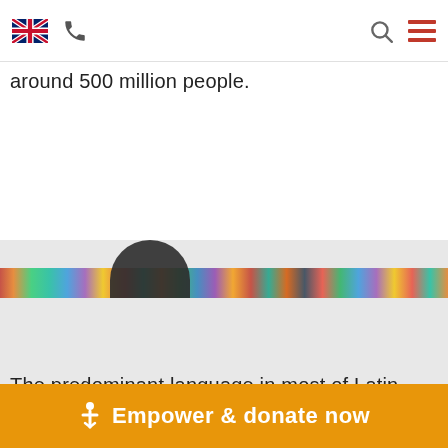[UK flag] [phone icon] [search icon] [menu icon]
around 500 million people.
[Figure (photo): A decorative strip image showing colorful symbols and a person silhouette, with a gallery icon overlay in the bottom right.]
The predominant language in most of Latin America is
Empower & donate now